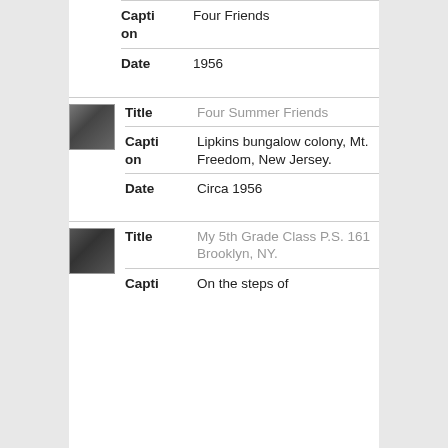| Field | Value |
| --- | --- |
| Title | Four Friends |
| Caption | Four Friends |
| Date | 1956 |
[Figure (photo): Small black and white thumbnail photo of four friends]
| Field | Value |
| --- | --- |
| Title | Four Summer Friends |
| Caption | Lipkins bungalow colony, Mt. Freedom, New Jersey. |
| Date | Circa 1956 |
[Figure (photo): Small black and white thumbnail photo of a group, possibly a class]
| Field | Value |
| --- | --- |
| Title | My 5th Grade Class P.S. 161 Brooklyn, NY. |
| Caption | On the steps of |